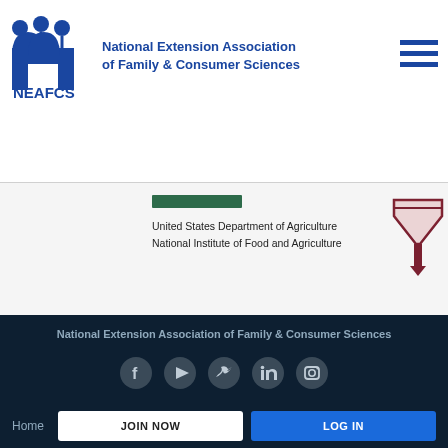[Figure (logo): NEAFCS logo — stylized letter n with three person figures on top, text NEAFCS below, in blue]
National Extension Association of Family & Consumer Sciences
[Figure (other): Hamburger menu icon — three horizontal blue lines]
[Figure (other): Green horizontal bar (sponsor section divider)]
United States Department of Agriculture
National Institute of Food and Agriculture
[Figure (logo): NIFA logo — funnel/triangle shape in dark red/maroon]
National Extension Association of Family & Consumer Sciences
[Figure (other): Social media icons: Facebook, YouTube, Twitter, LinkedIn, Instagram — circular gray icons]
Home   JOIN NOW   LOG IN